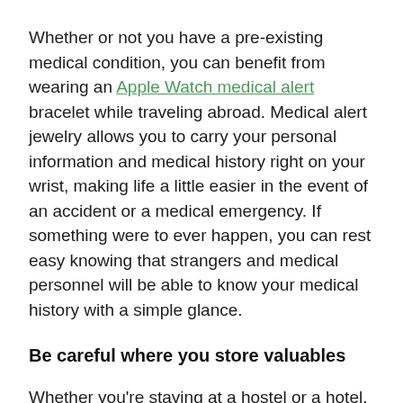Whether or not you have a pre-existing medical condition, you can benefit from wearing an Apple Watch medical alert bracelet while traveling abroad. Medical alert jewelry allows you to carry your personal information and medical history right on your wrist, making life a little easier in the event of an accident or a medical emergency. If something were to ever happen, you can rest easy knowing that strangers and medical personnel will be able to know your medical history with a simple glance.
Be careful where you store valuables
Whether you're staying at a hostel or a hotel, you need to make sure that your most valuable items are protected. This includes your personal documents, such as your passport, and any money and credit cards you won't be carrying around during the day. Either bring along a device that allows you to lock away your valuables or use any